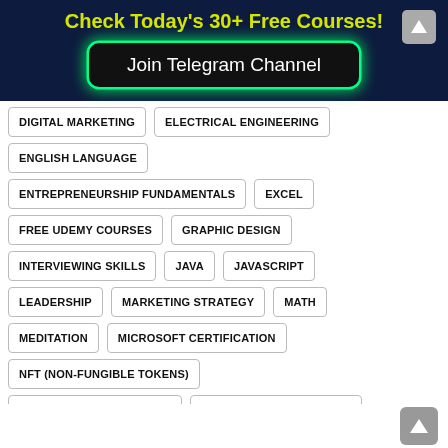Check Today's 30+ Free Courses!
Join Telegram Channel
DIGITAL MARKETING
ELECTRICAL ENGINEERING
ENGLISH LANGUAGE
ENTREPRENEURSHIP FUNDAMENTALS
EXCEL
FREE UDEMY COURSES
GRAPHIC DESIGN
INTERVIEWING SKILLS
JAVA
JAVASCRIPT
LEADERSHIP
MARKETING STRATEGY
MATH
MEDITATION
MICROSOFT CERTIFICATION
NFT (NON-FUNGIBLE TOKENS)
PERSONAL DEVELOPMENT
PERSONAL PRODUCTIVITY
PHOTOSHOP
PROGRAMMING FUNDAMENTALS
PROJECT MANAGEMENT
PUBLIC SPEAKING